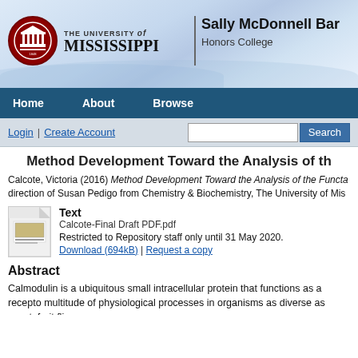[Figure (logo): University of Mississippi / Sally McDonnell Barksdale Honors College header banner with logo]
Home | About | Browse
Login | Create Account [Search bar]
Method Development Toward the Analysis of th
Calcote, Victoria (2016) Method Development Toward the Analysis of the Functa... direction of Susan Pedigo from Chemistry & Biochemistry, The University of Mis...
Text
Calcote-Final Draft PDF.pdf
Restricted to Repository staff only until 31 May 2020.
Download (694kB) | Request a copy
Abstract
Calmodulin is a ubiquitous small intracellular protein that functions as a recepto multitude of physiological processes in organisms as diverse as yeast, fruit flies